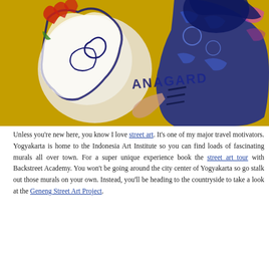[Figure (photo): Street art mural on a yellow/ochre wall showing a stylized white horse head with red and blue markings on the left, and a large blue humanoid figure with intricate patterns on the right. The text 'ANAGARD' is written in the center of the mural.]
Unless you're new here, you know I love street art. It's one of my major travel motivators. Yogyakarta is home to the Indonesia Art Institute so you can find loads of fascinating murals all over town. For a super unique experience book the street art tour with Backstreet Academy. You won't be going around the city center of Yogyakarta so go stalk out those murals on your own. Instead, you'll be heading to the countryside to take a look at the Geneng Street Art Project.